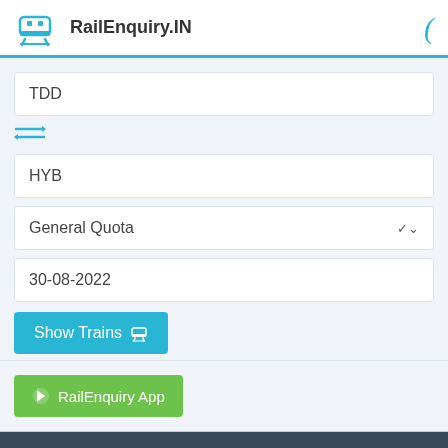RailEnquiry.IN
TDD
HYB
General Quota
30-08-2022
Show Trains
RailEnquiry App
02727 - Vishakapatnam - Secunderabad Special Fare Sf Special